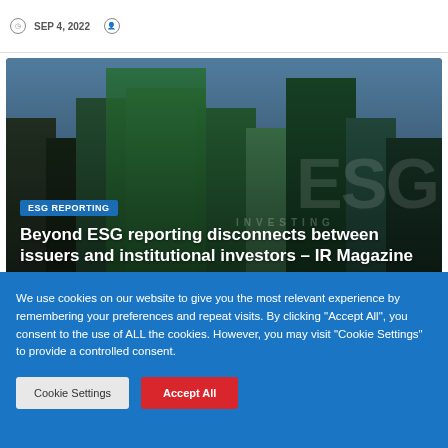SEP 4, 2022
[Figure (photo): Article card with ESG investing cityscape background image showing green skyscrapers and city skyline, with ESG REPORTING badge and article title overlay]
Beyond ESG reporting disconnects between issuers and institutional investors – IR Magazine
SEP 4, 2022
We use cookies on our website to give you the most relevant experience by remembering your preferences and repeat visits. By clicking "Accept All", you consent to the use of ALL the cookies. However, you may visit "Cookie Settings" to provide a controlled consent.
Cookie Settings
Accept All